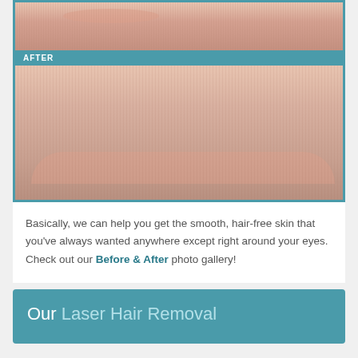[Figure (photo): Before and after laser hair removal photo showing close-up of upper lip area. Top section shows skin with visible hair, bottom section labeled AFTER shows smoother skin.]
Basically, we can help you get the smooth, hair-free skin that you've always wanted anywhere except right around your eyes. Check out our Before & After photo gallery!
Our Laser Hair Removal